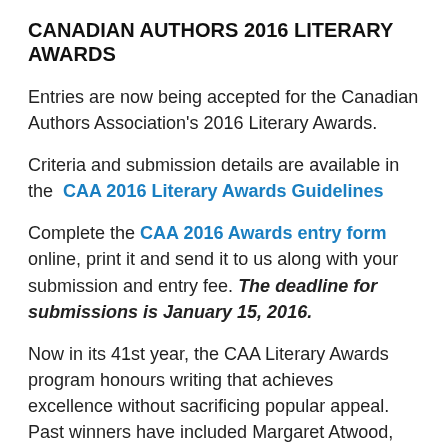CANADIAN AUTHORS 2016 LITERARY AWARDS
Entries are now being accepted for the Canadian Authors Association's 2016 Literary Awards.
Criteria and submission details are available in the CAA 2016 Literary Awards Guidelines
Complete the CAA 2016 Awards entry form online, print it and send it to us along with your submission and entry fee. The deadline for submissions is January 15, 2016.
Now in its 41st year, the CAA Literary Awards program honours writing that achieves excellence without sacrificing popular appeal. Past winners have included Margaret Atwood, Timothy Findley, Leonard Cohen, Michael Ondaatje, Carol Shields, Patrick DeWitt, Nino Ricci, Michael S. Cross, Don McKay, Charlotte Gray